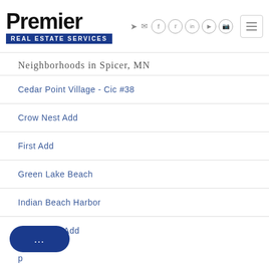[Figure (logo): Premier Real Estate Services logo with bold black text 'Premier' and blue banner 'REAL ESTATE SERVICES']
Neighborhoods in Spicer, MN
Cedar Point Village - Cic #38
Crow Nest Add
First Add
Green Lake Beach
Indian Beach Harbor
Koch Third Add